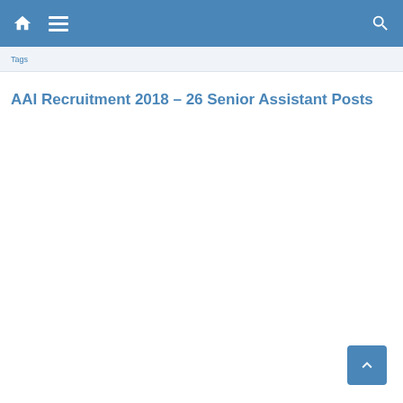Navigation bar with home, menu, and search icons
Breadcrumb navigation
AAI Recruitment 2018 – 26 Senior Assistant Posts